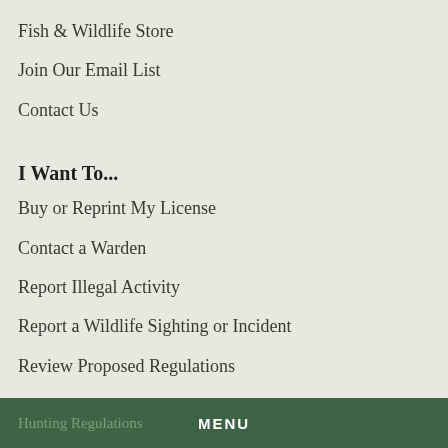Fish & Wildlife Store
Join Our Email List
Contact Us
I Want To...
Buy or Reprint My License
Contact a Warden
Report Illegal Activity
Report a Wildlife Sighting or Incident
Review Proposed Regulations
Request a Public Record
Quick Links
Hunting Regulations    MENU